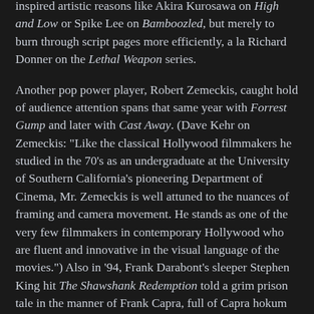inspired artistic reasons like Akira Kurosawa on High and Low or Spike Lee on Bamboozled, but merely to burn through script pages more efficiently, a la Richard Donner on the Lethal Weapon series.
Another pop power player, Robert Zemeckis, caught hold of audience attention spans that same year with Forrest Gump and later with Cast Away. (Dave Kehr on Zemeckis: "Like the classical Hollywood filmmakers he studied in the 70's as an undergraduate at the University of Southern California's pioneering Department of Cinema, Mr. Zemeckis is well attuned to the nuances of framing and camera movement. He stands as one of the very few filmmakers in contemporary Hollywood who are fluent and innovative in the visual language of the movies.") Also in '94, Frank Darabont's sleeper Stephen King hit The Shawshank Redemption told a grim prison tale in the manner of Frank Capra, full of Capra hokum but also Capra's patient, cajoling camera.
DVD arrived the following year, and such storytelling was suddenly marked for death. When